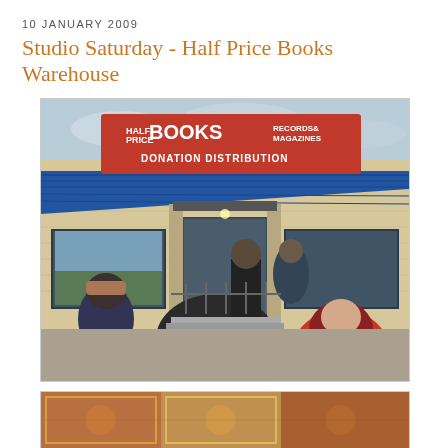10 JANUARY 2009
Studio Saturday - Half Price Books Warehouse
[Figure (photo): Exterior photo of Half Price Books Records & Magazines Donation Distribution warehouse store with people queuing outside in winter clothing. A large red sign reads 'HALF PRICE BOOKS RECORDS & MAGAZINES DONATION DISTRIBUTION'. Blue metal awning, brick facade, glass doors. Crowd of people including a person in a red hoodie in the foreground.]
[Figure (photo): Partial view of a second photo, showing colorful patterned fabric or rugs, partially cut off at the bottom of the page.]